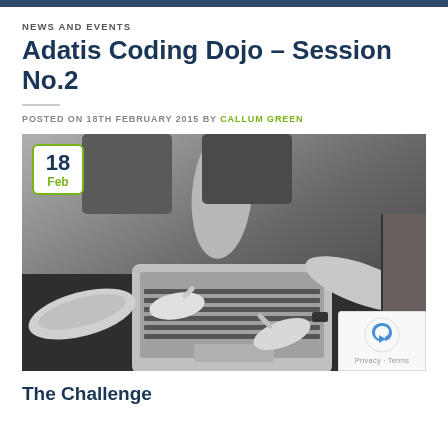NEWS AND EVENTS
Adatis Coding Dojo – Session No.2
POSTED ON 18TH FEBRUARY 2015 BY CALLUM GREEN
[Figure (photo): Black and white overhead photo of multiple people reaching their hands toward a laptop computer on a table. Date badge shows 18 Feb in top-left corner.]
The Challenge